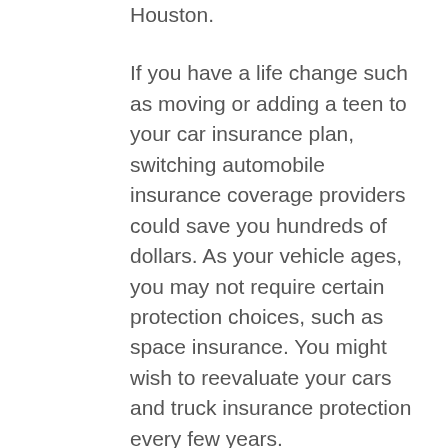Houston.
If you have a life change such as moving or adding a teen to your car insurance plan, switching automobile insurance coverage providers could save you hundreds of dollars. As your vehicle ages, you may not require certain protection choices, such as space insurance. You might wish to reevaluate your cars and truck insurance protection every few years.
To discover the very best vehicle insurer for you, you might find it practical to get online quotes from several suppliers and evaluate their